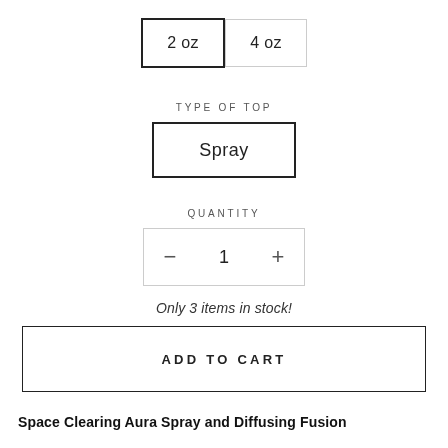2 oz  4 oz
TYPE OF TOP
Spray
QUANTITY
- 1 +
Only 3 items in stock!
ADD TO CART
Space Clearing Aura Spray and Diffusing Fusion